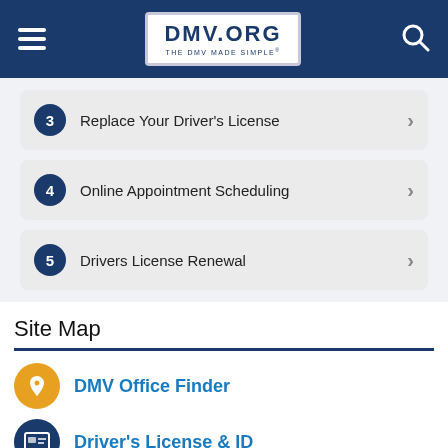DMV.ORG — THE DMV MADE SIMPLE
3  Replace Your Driver's License
4  Online Appointment Scheduling
5  Drivers License Renewal
Site Map
DMV Office Finder
Driver's License & ID
Registration & Title
Violations & Safety
Car Insurance